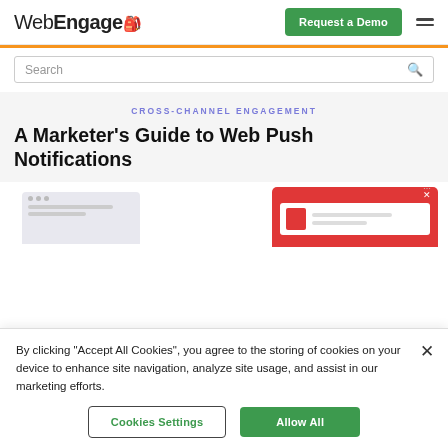WebEngage | Request a Demo
Search
CROSS-CHANNEL ENGAGEMENT
A Marketer's Guide to Web Push Notifications
[Figure (illustration): Browser window mockup with a red web push notification popup overlay showing a browser interface and notification widget]
By clicking "Accept All Cookies", you agree to the storing of cookies on your device to enhance site navigation, analyze site usage, and assist in our marketing efforts.
Cookies Settings
Allow All